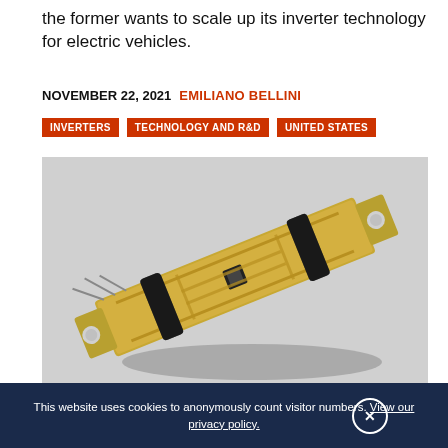the former wants to scale up its inverter technology for electric vehicles.
NOVEMBER 22, 2021   EMILIANO BELLINI
INVERTERS
TECHNOLOGY AND R&D
UNITED STATES
[Figure (photo): A gold-colored rectangular electronic component (power module or MOSFET device) with dark rubber bands/connectors at each end, photographed at an angle on a light gray background.]
This website uses cookies to anonymously count visitor numbers. View our privacy policy.